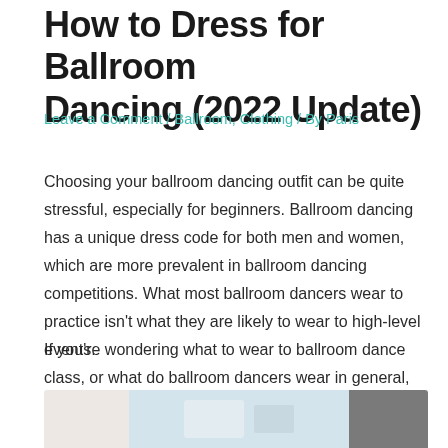How to Dress for Ballroom Dancing (2022 Update)
Leave a Comment / Ballroom, Clothing / By Paris
Choosing your ballroom dancing outfit can be quite stressful, especially for beginners. Ballroom dancing has a unique dress code for both men and women, which are more prevalent in ballroom dancing competitions. What most ballroom dancers wear to practice isn't what they are likely to wear to high-level events.
If you're wondering what to wear to ballroom dance class, or what do ballroom dancers wear in general, we'll cover all of this (and more) in this article.
[Figure (photo): Partial view of a ballroom dancing photo at the bottom of the page, showing dancers in a studio or ballroom setting.]